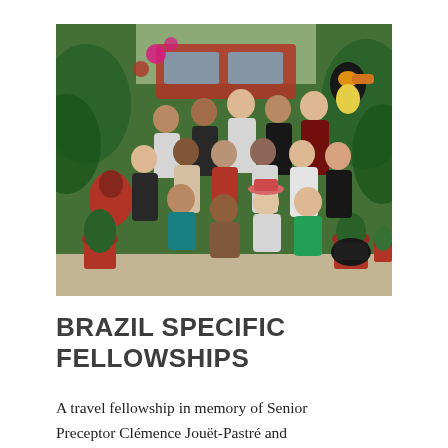[Figure (photo): Group photo of approximately 14 students posing together in front of a colorful tropical mural backdrop featuring birds, flowers, and plants. Several red potted plants are visible on the floor. The setting appears to be an indoor venue with a tropical decoration theme.]
BRAZIL SPECIFIC FELLOWSHIPS
A travel fellowship in memory of Senior Preceptor Clémence Jouët-Pastré and